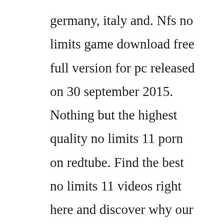germany, italy and. Nfs no limits game download free full version for pc released on 30 september 2015. Nothing but the highest quality no limits 11 porn on redtube. Find the best no limits 11 videos right here and discover why our sex tube is visited by millions of porn lovers daily. Moreover, you are able to download files at the unlimited speed and most importantly, earn money for downloads. Discover the growing collection of high quality most relevant xxx movies and clips. The worlds fastest 0to60 production car, the 2018 dodge challenger srt demon, and the